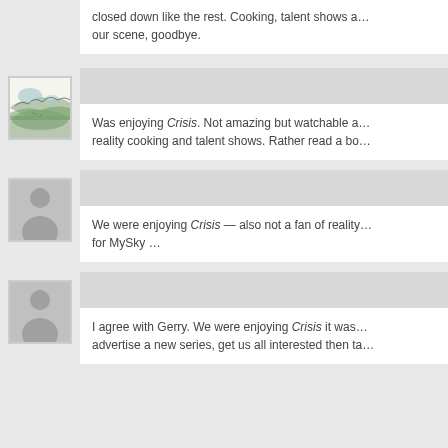closed down like the rest. Cooking, talent shows a… our scene, goodbye.
[Figure (photo): Landscape/nature sketch illustration used as user avatar]
Was enjoying Crisis. Not amazing but watchable a… reality cooking and talent shows. Rather read a bo…
[Figure (illustration): Generic grey user avatar placeholder silhouette]
We were enjoying Crisis — also not a fan of reality… for MySky …
[Figure (illustration): Generic grey user avatar placeholder silhouette]
I agree with Gerry. We were enjoying Crisis it was… advertise a new series, get us all interested then ta…